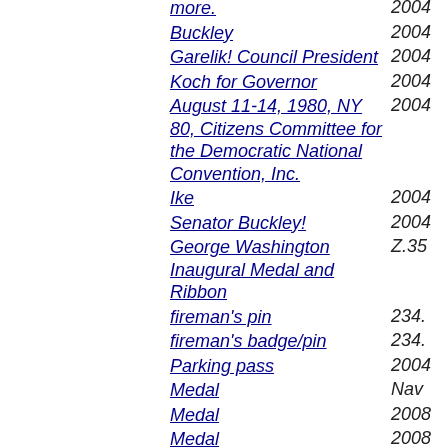more. | 2004
Buckley | 2004
Garelik! Council President | 2004
Koch for Governor | 2004
August 11-14, 1980, NY 80, Citizens Committee for the Democratic National Convention, Inc. | 2004
Ike | 2004
Senator Buckley! | 2004
George Washington Inaugural Medal and Ribbon | Z.35
fireman's pin | 234.
fireman's badge/pin | 234.
Parking pass | 2004
Medal | Nav
Medal | 2008
Medal | 2008
Medal | 2008
Medal | 2008
Medal | 2008
Medal | 2008
Medal | 2008